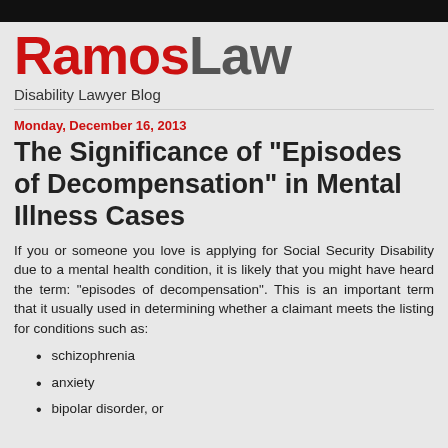RamosLaw
Disability Lawyer Blog
Monday, December 16, 2013
The Significance of "Episodes of Decompensation" in Mental Illness Cases
If you or someone you love is applying for Social Security Disability due to a mental health condition, it is likely that you might have heard the term: "episodes of decompensation". This is an important term that it usually used in determining whether a claimant meets the listing for conditions such as:
schizophrenia
anxiety
bipolar disorder, or